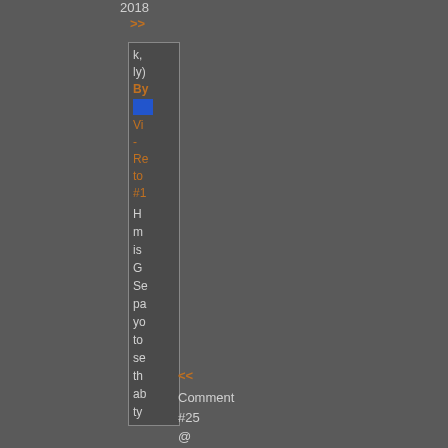2018
>>
k,
ly)
By
[Figure (other): Small blue rectangle button/icon]
Vi
-
Re
to
#1
H
m
is
G
Se
pa
yo
to
se
th
ab
ty
<<
Comment
#25
@
02:44
CDT,
18
October,